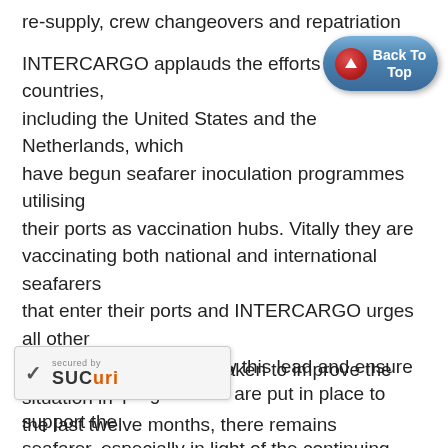re-supply, crew changeovers and repatriation INTERCARGO applauds the efforts of those countries, including the United States and the Netherlands, which have begun seafarer inoculation programmes utilising their ports as vaccination hubs. Vitally they are vaccinating both national and international seafarers that enter their ports and INTERCARGO urges all other maritime nations to follow this lead and ensure vaccination programmes are put in place to support the seafarer, especially in light of the continuing emergence of new variants of the COVID-19 virus.
[Figure (other): Back To Top button — a blue rounded pill-shaped button with a red circle containing an upward arrow, and the text 'Back To Top' in white bold.]
While steps have been taken to improve the situation in the last twelve months, there remains uncertainty [for] crews who are still unsure of when [they will be reliev]ed and what the future holds for
[Figure (other): Sucuri website security badge — shows a checkmark, 'secured by' in small text, and 'Sucuri' logo in bold.]